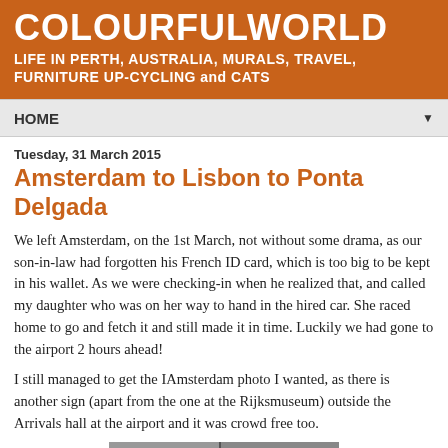COLOURFULWORLD
LIFE IN PERTH, AUSTRALIA, MURALS, TRAVEL, FURNITURE UP-CYCLING and CATS
HOME
Tuesday, 31 March 2015
Amsterdam to Lisbon to Ponta Delgada
We left Amsterdam, on the 1st March, not without some drama, as our son-in-law had forgotten his French ID card, which is too big to be kept in his wallet. As we were checking-in when he realized that, and called my daughter who was on her way to hand in the hired car. She raced home to go and fetch it and still made it in time. Luckily we had gone to the airport 2 hours ahead!
I still managed to get the IAmsterdam photo I wanted, as there is another sign (apart from the one at the Rijksmuseum) outside the Arrivals hall at the airport and it was crowd free too.
[Figure (photo): Photograph at the bottom of the page showing a sign, partially visible, appears to be taken at an airport arrivals hall area.]